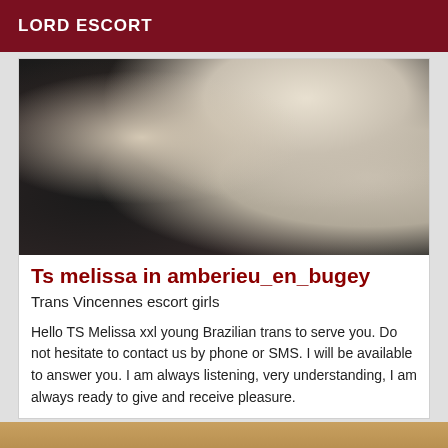LORD ESCORT
[Figure (photo): Close-up photo of a person with curly/wavy blonde/white hair against a dark background, face not visible, showing the back and side of the head.]
Ts melissa in amberieu_en_bugey
Trans Vincennes escort girls
Hello TS Melissa xxl young Brazilian trans to serve you. Do not hesitate to contact us by phone or SMS. I will be available to answer you. I am always listening, very understanding, I am always ready to give and receive pleasure.